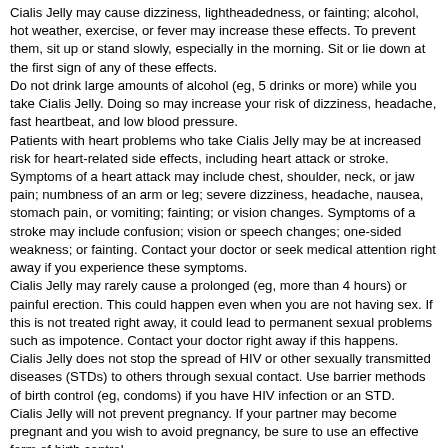Cialis Jelly may cause dizziness, lightheadedness, or fainting; alcohol, hot weather, exercise, or fever may increase these effects. To prevent them, sit up or stand slowly, especially in the morning. Sit or lie down at the first sign of any of these effects.
Do not drink large amounts of alcohol (eg, 5 drinks or more) while you take Cialis Jelly. Doing so may increase your risk of dizziness, headache, fast heartbeat, and low blood pressure.
Patients with heart problems who take Cialis Jelly may be at increased risk for heart-related side effects, including heart attack or stroke. Symptoms of a heart attack may include chest, shoulder, neck, or jaw pain; numbness of an arm or leg; severe dizziness, headache, nausea, stomach pain, or vomiting; fainting; or vision changes. Symptoms of a stroke may include confusion; vision or speech changes; one-sided weakness; or fainting. Contact your doctor or seek medical attention right away if you experience these symptoms.
Cialis Jelly may rarely cause a prolonged (eg, more than 4 hours) or painful erection. This could happen even when you are not having sex. If this is not treated right away, it could lead to permanent sexual problems such as impotence. Contact your doctor right away if this happens.
Cialis Jelly does not stop the spread of HIV or other sexually transmitted diseases (STDs) to others through sexual contact. Use barrier methods of birth control (eg, condoms) if you have HIV infection or an STD.
Cialis Jelly will not prevent pregnancy. If your partner may become pregnant and you wish to avoid pregnancy, be sure to use an effective form of birth control.
Cialis Jelly may uncommonly cause mild, temporary vision changes (eg, blurred vision, sensitivity to light, blue/green color tint to vision). Contact your doctor if vision changes persist or are severe.
Rarely, an eye problem called nonarteritic anterior ischemic optic neuropathy (NAION) has been reported in patients who took Cialis Jelly. This may lead to decreased vision or permanent loss of vision in some cases. If you notice a sudden decrease in vision or loss of vision in one or both eyes, contact your doctor right away.